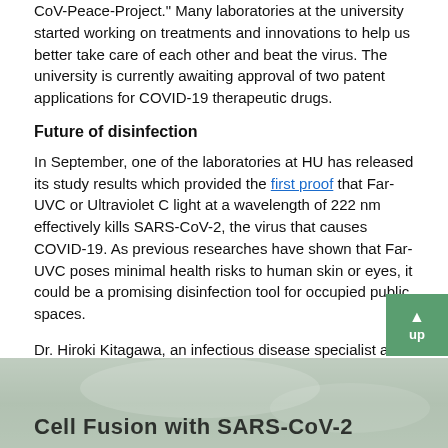CoV-Peace-Project." Many laboratories at the university started working on treatments and innovations to help us better take care of each other and beat the virus. The university is currently awaiting approval of two patent applications for COVID-19 therapeutic drugs.
Future of disinfection
In September, one of the laboratories at HU has released its study results which provided the first proof that Far-UVC or Ultraviolet C light at a wavelength of 222 nm effectively kills SARS-CoV-2, the virus that causes COVID-19. As previous researches have shown that Far-UVC poses minimal health risks to human skin or eyes, it could be a promising disinfection tool for occupied public spaces.
Dr. Hiroki Kitagawa, an infectious disease specialist at Hiroshima University Hospital and co-author of the study, said they are now verifying the potency of Far-UVC in zapping the virus in clinical settings such as patient rooms.
The Far-UVC research was one of the four studies at the university funded by the Japan Agency for Medical Research and Development (AMED).
[Figure (photo): Bottom partial image showing text 'Cell Fusion with SARS-CoV-2' overlaid on a blurred laboratory or scientific background image]